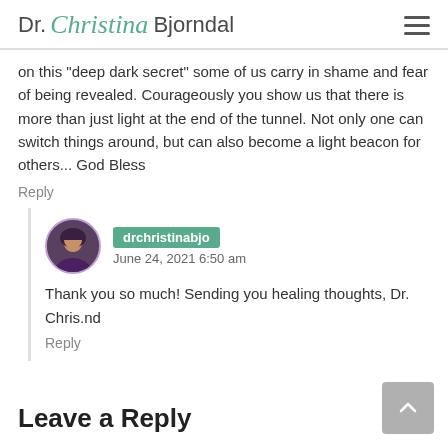Dr. Christina Bjorndal
on this “deep dark secret” some of us carry in shame and fear of being revealed. Courageously you show us that there is more than just light at the end of the tunnel. Not only one can switch things around, but can also become a light beacon for others... God Bless
Reply
drchristinabjo
June 24, 2021 6:50 am
Thank you so much! Sending you healing thoughts, Dr. Chris.nd
Reply
Leave a Reply